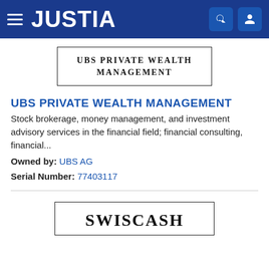JUSTIA
[Figure (logo): UBS PRIVATE WEALTH MANAGEMENT logo in a bordered box]
UBS PRIVATE WEALTH MANAGEMENT
Stock brokerage, money management, and investment advisory services in the financial field; financial consulting, financial...
Owned by: UBS AG
Serial Number: 77403117
[Figure (logo): SWISCASH logo in a bordered box]